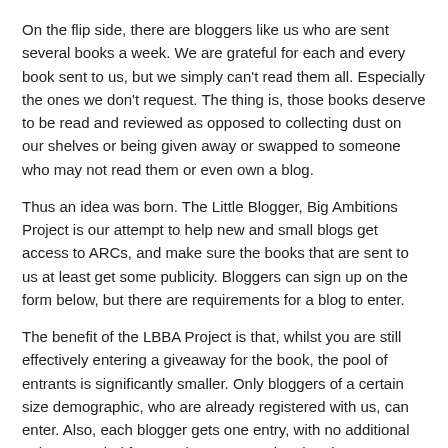On the flip side, there are bloggers like us who are sent several books a week.  We are grateful for each and every book sent to us, but we simply can't read them all.  Especially the ones we don't request.  The thing is, those books deserve to be read and reviewed as opposed to collecting dust on our shelves or being given away or swapped to someone who may not read them or even own a blog.
Thus an idea was born. The Little Blogger, Big Ambitions Project is our attempt to help new and small blogs get access to ARCs, and make sure the books that are sent to us at least get some publicity. Bloggers can sign up on the form below, but there are requirements for a blog to enter.
The benefit of the LBBA Project is that, whilst you are still effectively entering a giveaway for the book, the pool of entrants is significantly smaller.  Only bloggers of a certain size demographic, who are already registered with us, can enter.  Also, each blogger gets one entry, with no additional points awarded for tweeting or promoting the giveaway.  So keep reading for more details of how you could be involved.
Only book blogs with the following stats or less can be a part of The Little Blogger, Big Ambitions Project:
-600 followers or less